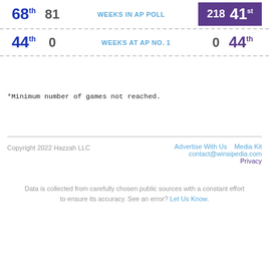| Left Rank | Left Value | Label | Right Value | Right Rank |
| --- | --- | --- | --- | --- |
| 68th | 81 | WEEKS IN AP POLL | 218 | 41st |
| 44th | 0 | WEEKS AT AP NO. 1 | 0 | 44th |
*Minimum number of games not reached.
Copyright 2022 Hazzah LLC | Advertise With Us  Media Kit  contact@winsipedia.com  Privacy
Data is collected from carefully chosen public sources with a constant effort to ensure its accuracy. See an error? Let Us Know.